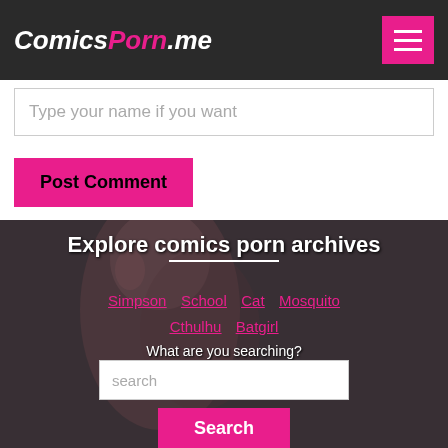ComicsPorn.me
Type your name if you want
Post Comment
Explore comics porn archives
Simpson
School
Cat
Mosquito
Cthulhu
Batgirl
What are you searching?
search
Search